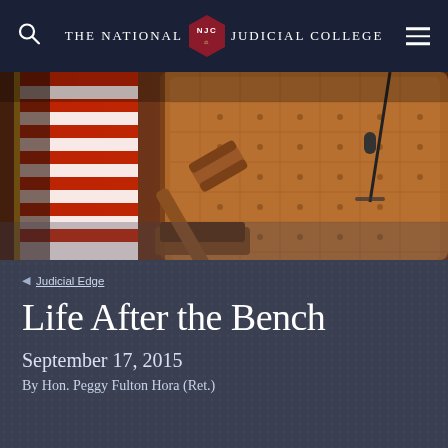THE NATIONAL JUDICIAL COLLEGE
[Figure (photo): A judge's courtroom scene with a wooden gavel resting on a sound block in front of a brown leather tufted judge's chair, with an American flag visible on the left and a microphone on the right.]
◀ Judicial Edge
Life After the Bench
September 17, 2015
By Hon. Peggy Fulton Hora (Ret.)